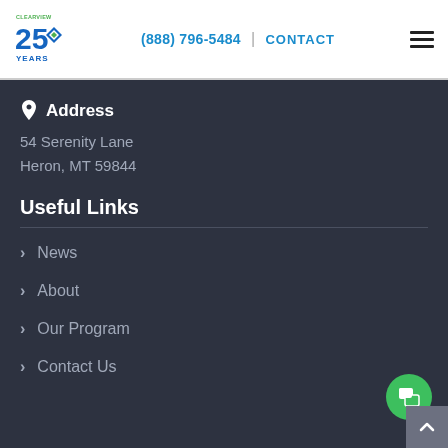(888) 796-5484 | CONTACT
Address
54 Serenity Lane
Heron, MT 59844
Useful Links
News
About
Our Program
Contact Us